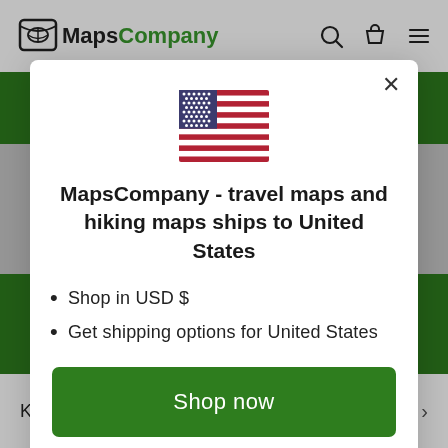MapsCompany
[Figure (screenshot): MapsCompany website popup modal showing US flag, title text, bullet points, and shop now button]
MapsCompany - travel maps and hiking maps ships to United States
Shop in USD $
Get shipping options for United States
Shop now
Change shipping country
Kids